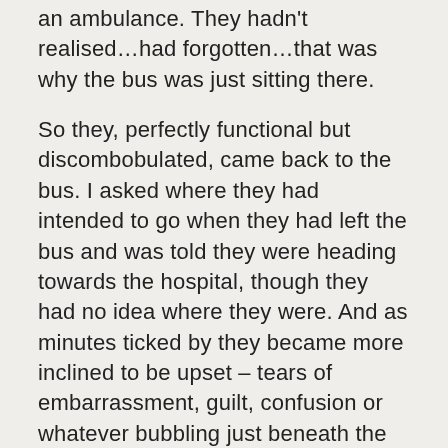an ambulance. They hadn't realised…had forgotten…that was why the bus was just sitting there.
So they, perfectly functional but discombobulated, came back to the bus. I asked where they had intended to go when they had left the bus and was told they were heading towards the hospital, though they had no idea where they were. And as minutes ticked by they became more inclined to be upset – tears of embarrassment, guilt, confusion or whatever bubbling just beneath the surface in spite of reassurances from the other passengers that any delay to our journey was inconsequential.
I don't know what happened in the end as another bus came to ferry the rest of us passengers home after forty minutes or so.
But what the fuck is it that emergency services say they are sending an ambulance from no more than three or four